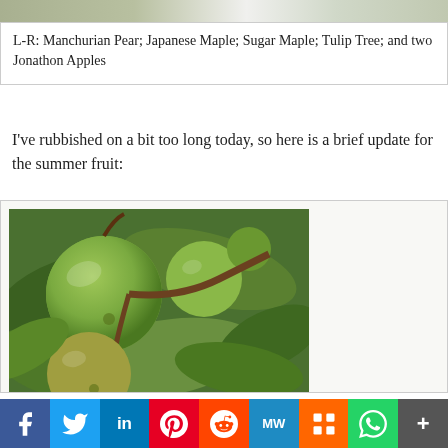[Figure (photo): Top portion of an image showing trees/plants with white flowers — partially visible at top of page]
L-R: Manchurian Pear; Japanese Maple; Sugar Maple; Tulip Tree; and two Jonathon Apples
I've rubbished on a bit too long today, so here is a brief update for the summer fruit:
[Figure (photo): Close-up photograph of green apples growing on a tree branch with leaves]
f  Twitter  in  P  reddit  MW  M  WhatsApp  +